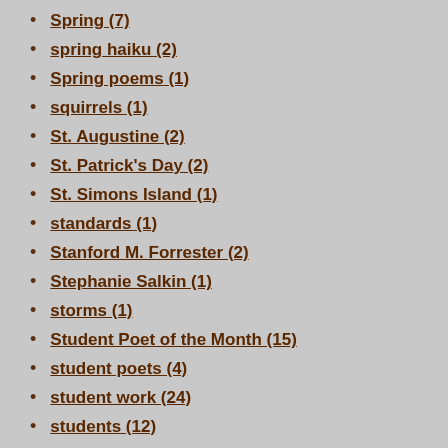Spring (7)
spring haiku (2)
Spring poems (1)
squirrels (1)
St. Augustine (2)
St. Patrick's Day (2)
St. Simons Island (1)
standards (1)
Stanford M. Forrester (2)
Stephanie Salkin (1)
storms (1)
Student Poet of the Month (15)
student poets (4)
student work (24)
students (12)
Sudell Rosenberg (1)